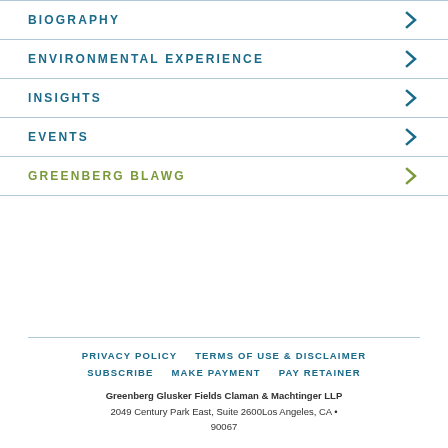BIOGRAPHY
ENVIRONMENTAL EXPERIENCE
INSIGHTS
EVENTS
GREENBERG BLAWG
PRIVACY POLICY   TERMS OF USE & DISCLAIMER   SUBSCRIBE   MAKE PAYMENT   PAY RETAINER   Greenberg Glusker Fields Claman & Machtinger LLP 2049 Century Park East, Suite 2600Los Angeles, CA • 90067